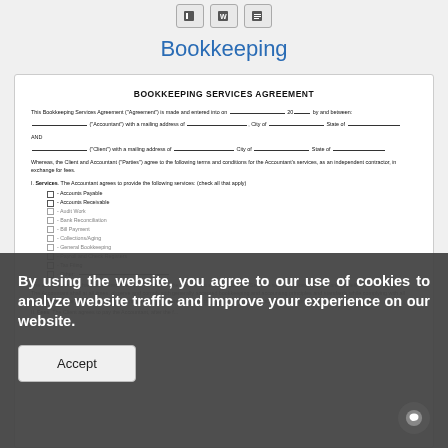Bookkeeping
BOOKKEEPING SERVICES AGREEMENT
This Bookkeeping Services Agreement ("Agreement") is made and entered into on __________________, 20____ by and between:
__________________ ("Accountant") with a mailing address of ____________________, City of ____________________ State of ____________________
AND
__________________ ("Client") with a mailing address of ____________________, City of ____________________ State of ____________________
Whereas, the Client and Accountant ("Parties") agree to the following terms and conditions for the Accountant's services, as an independent contractor, in exchange for fees.
I. Services. The Accountant agrees to provide the following services: (check all that apply)
☐ - Accounts Payable
☐ - Accounts Receivable
☐ - Audit Work
☐ - Bank Reconciliation
☐ - Bill Payment
☐ - Collections/Aging
☐ - General Bookkeeping
☐ - Payroll and Check Registers
☐ - Tax Filing
☐ - Other: ____________________
The above services shall be referred to as the "Services". The Accountant shall perform the Services within the specifications and guidelines set by the Client. The Accountant shall at all times, observe and comply with generally accepted bookkeeping and accounting principles and standards while complying with all Federal and State laws, regulations, and requirements when completing their Services in accordance with this Agreement.
II. Fees. The Client agrees to pay the Accountant, after the f...
By using the website, you agree to our use of cookies to analyze website traffic and improve your experience on our website.